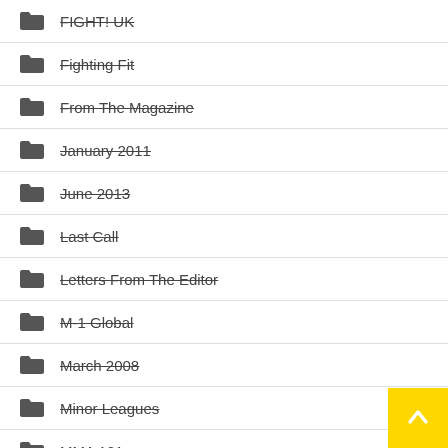FIGHT! UK
Fighting Fit
From The Magazine
January 2011
June 2013
Last Call
Letters From The Editor
M-1 Global
March 2008
Minor Leagues
MMA 101
MMA Life
Names In The Game From The Magazine